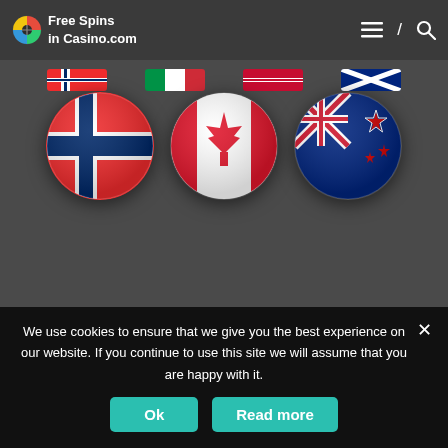Free Spins in Casino.com
[Figure (illustration): Three circular flag icons showing Norway (red with blue/white cross), Canada (red with maple leaf), and New Zealand (dark blue with Union Jack and stars), with partial flags visible in a stripe above.]
We use cookies to ensure that we give you the best experience on our website. If you continue to use this site we will assume that you are happy with it.